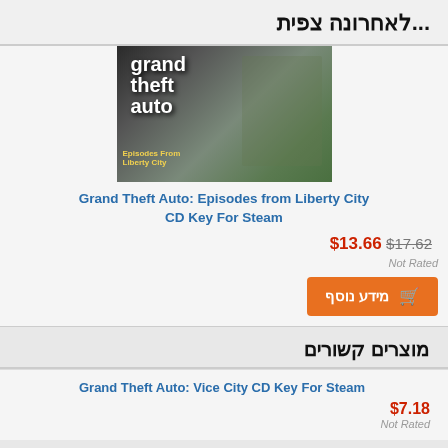לאחרונה צפית...
[Figure (photo): Grand Theft Auto: Episodes from Liberty City game cover art showing characters]
Grand Theft Auto: Episodes from Liberty City CD Key For Steam
$13.66 $17.62
Not Rated
מידע נוסף
מוצרים קשורים
Grand Theft Auto: Vice City CD Key For Steam
$7.18
Not Rated